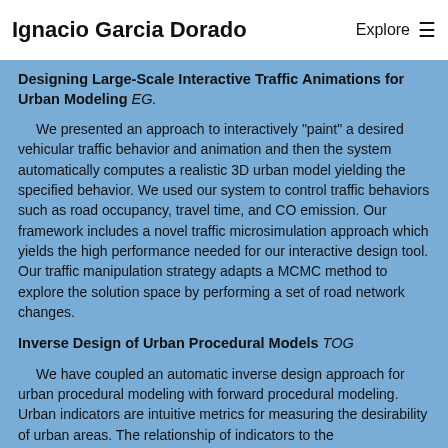Ignacio Garcia Dorado   Explore ≡
INVERSE DESIGN AND TRAFFIC...
Designing Large-Scale Interactive Traffic Animations for Urban Modeling EG.
We presented an approach to interactively "paint" a desired vehicular traffic behavior and animation and then the system automatically computes a realistic 3D urban model yielding the specified behavior. We used our system to control traffic behaviors such as road occupancy, travel time, and CO emission. Our framework includes a novel traffic microsimulation approach which yields the high performance needed for our interactive design tool. Our traffic manipulation strategy adapts a MCMC method to explore the solution space by performing a set of road network changes.
Inverse Design of Urban Procedural Models TOG
We have coupled an automatic inverse design approach for urban procedural modeling with forward procedural modeling. Urban indicators are intuitive metrics for measuring the desirability of urban areas. The relationship of indicators to the